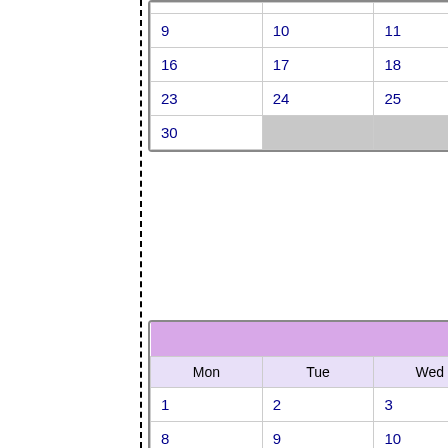| Mon | Tue | Wed | Thu | Fri | Sat | Sun |
| --- | --- | --- | --- | --- | --- | --- |
| 9 | 10 | 11 | 12 | 13 | 14 | 15 |
| 16 | 17 | 18 | 19 | 20 | 21 | 22 |
| 23 | 24 | 25 | 26 | 27 | 28 | 29 |
| 30 |  |  |  |  |  |  |
| Mon | Tue | Wed | Thu | Fri | Sat | Sun |
| --- | --- | --- | --- | --- | --- | --- |
| 1 | 2 | 3 | 4 | 5 | 6 | 7 |
| 8 | 9 | 10 | 11 | 12 | 13 | 14 |
| 15 | 16 | 17 | 18 | 19 | 20 | 21 |
| 22 | 23 | 24 | 25 | 26 | 27 | 28 |
| 29 | 30 |  |  |  |  |  |